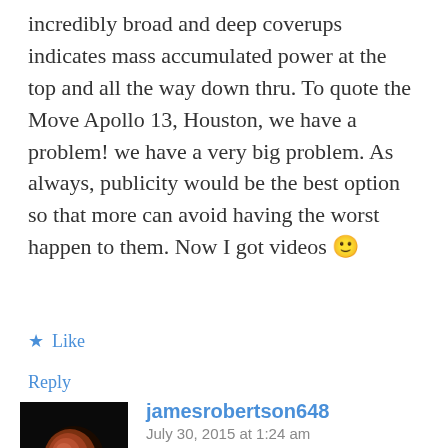incredibly broad and deep coverups indicates mass accumulated power at the top and all the way down thru. To quote the Move Apollo 13, Houston, we have a problem! we have a very big problem. As always, publicity would be the best option so that more can avoid having the worst happen to them. Now I got videos 🙂
Like
Reply
jamesrobertson648
July 30, 2015 at 1:24 am
[Figure (photo): Avatar photo showing a dark background with a reddish-brown lunar eclipse moon image.]
You may well be correct. One case is too many and there are many